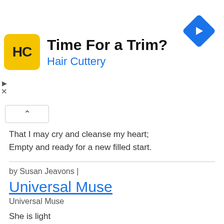[Figure (other): Hair Cuttery advertisement banner with logo (yellow square with HC text), headline 'Time For a Trim?', subline 'Hair Cuttery', and blue diamond arrow icon on the right]
That I may cry and cleanse my heart;
Empty and ready for a new filled start.
by Susan Jeavons |
Universal Muse
Universal Muse
She is light
in dark, mysterious spaces,
integrity in immoral places .
She's hope
in spite of  uncertainty,
mercy for those with misery.
She's an idealist